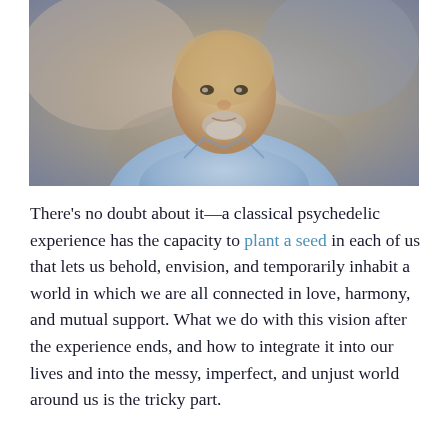[Figure (photo): Professional headshot of a bald middle-aged man with a grey beard, wearing a light blue button-up shirt, photographed against a blurred neutral background.]
There's no doubt about it—a classical psychedelic experience has the capacity to plant a seed in each of us that lets us behold, envision, and temporarily inhabit a world in which we are all connected in love, harmony, and mutual support. What we do with this vision after the experience ends, and how to integrate it into our lives and into the messy, imperfect, and unjust world around us is the tricky part.